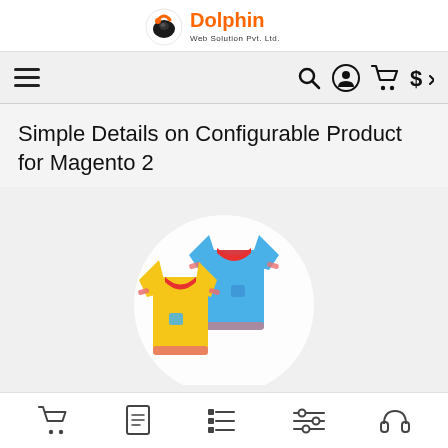[Figure (logo): Dolphin Web Solution Pvt. Ltd. logo with orange dolphin icon and orange/dark text]
[Figure (screenshot): Mobile website navigation bar with hamburger menu on left and search, account, cart, currency icons on right]
Simple Details on Configurable Product for Magento 2
[Figure (illustration): Two cartoon t-shirts (one blue with red collar, one yellow with red accents) on a light circular background]
[Figure (screenshot): Bottom navigation bar with cart, document, list, settings, and headphone icons]